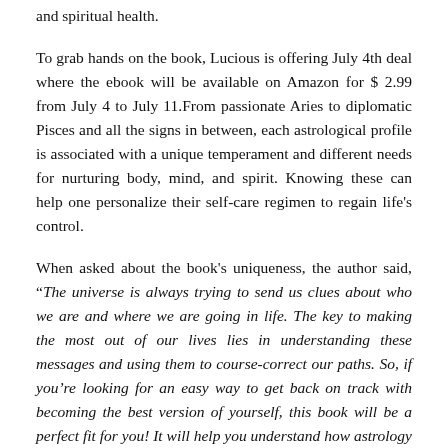and spiritual health.
To grab hands on the book, Lucious is offering July 4th deal where the ebook will be available on Amazon for $ 2.99 from July 4 to July 11.From passionate Aries to diplomatic Pisces and all the signs in between, each astrological profile is associated with a unique temperament and different needs for nurturing body, mind, and spirit. Knowing these can help one personalize their self-care regimen to regain life's control.
When asked about the book's uniqueness, the author said, “The universe is always trying to send us clues about who we are and where we are going in life. The key to making the most out of our lives lies in understanding these messages and using them to course-correct our paths. So, if you’re looking for an easy way to get back on track with becoming the best version of yourself, this book will be a perfect fit for you! It will help you understand how astrology and other signs play into your life and give you tools to understand yourself